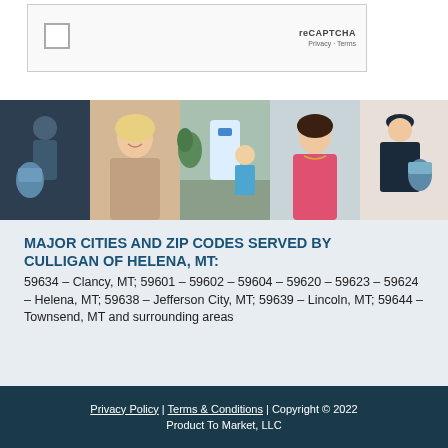[Figure (screenshot): reCAPTCHA widget box with checkbox and reCAPTCHA logo showing Privacy and Terms links]
[Figure (photo): Horizontal photo strip collage showing Culligan water delivery service scenes: technician delivering water, smiling woman, kitchen water dispenser, child at sink, smiling woman in pink, technician with water jug]
MAJOR CITIES AND ZIP CODES SERVED BY CULLIGAN OF HELENA, MT:
59634 – Clancy, MT; 59601 – 59602 – 59604 – 59620 – 59623 – 59624 – Helena, MT; 59638 – Jefferson City, MT; 59639 – Lincoln, MT; 59644 – Townsend, MT and surrounding areas
Privacy Policy | Terms & Conditions | Copyright © 2022 Product To Market, LLC